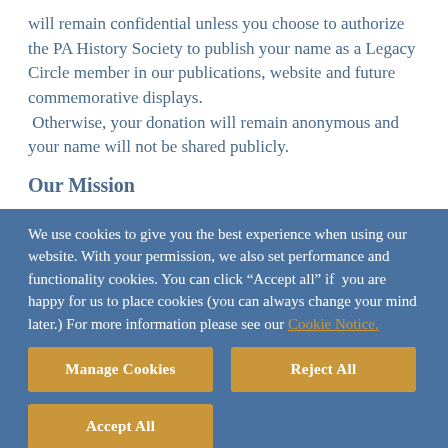will remain confidential unless you choose to authorize the PA History Society to publish your name as a Legacy Circle member in our publications, website and future commemorative displays. Otherwise, your donation will remain anonymous and your name will not be shared publicly.
Our Mission
We use cookies to give you the best experience when using our website. With your permission, we also set performance and functionality cookies. You can click “Accept all” if you are happy for us to place cookies (you can always change your mind later.) For more information please see our Cookie Notice.